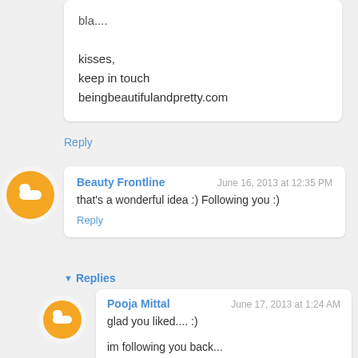kisses,
keep in touch
beingbeautifulandpretty.com
Reply
Beauty Frontline
June 16, 2013 at 12:35 PM
that's a wonderful idea :) Following you :)
Reply
▾ Replies
Pooja Mittal
June 17, 2013 at 1:24 AM
glad you liked.... :)

im following you back...